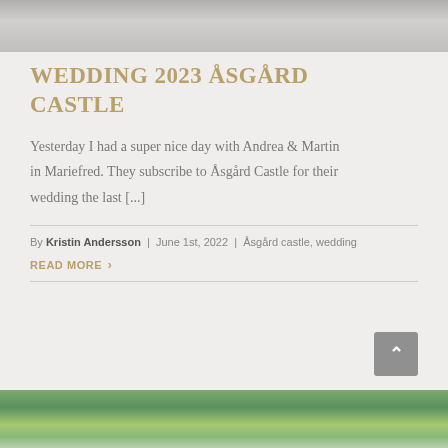[Figure (photo): Black and white photo of a person sitting, partially cropped at top of page]
WEDDING 2023 ÅSGÅRD CASTLE
Yesterday I had a super nice day with Andrea & Martin in Mariefred. They subscribe to Åsgård Castle for their wedding the last [...]
By Kristin Andersson | June 1st, 2022 | Åsgård castle, wedding
READ MORE >
[Figure (photo): Outdoor photo with green foliage and flowers, partially cropped at bottom of page]